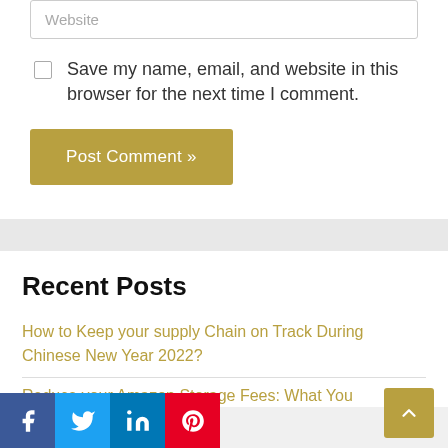Website
Save my name, email, and website in this browser for the next time I comment.
Post Comment »
Recent Posts
How to Keep your supply Chain on Track During Chinese New Year 2022?
Reduce your Amazon Storage Fees: What You